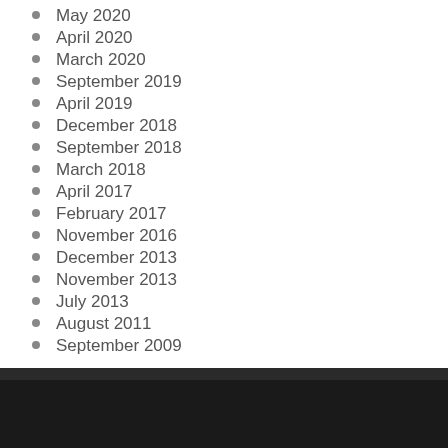May 2020
April 2020
March 2020
September 2019
April 2019
December 2018
September 2018
March 2018
April 2017
February 2017
November 2016
December 2013
November 2013
July 2013
August 2011
September 2009